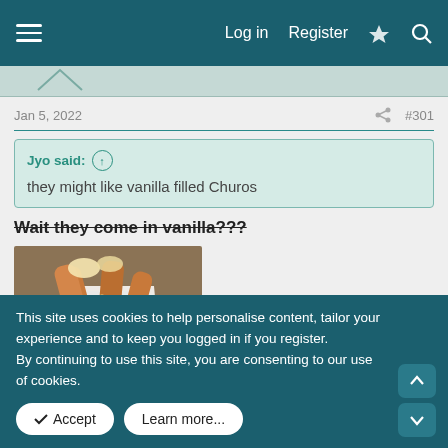Log in  Register
Jan 5, 2022  #301
Jyo said: ↑
they might like vanilla filled Churos
Wait they come in vanilla???
[Figure (photo): Photo of vanilla filled churros in paper wrapping on a plate]
This site uses cookies to help personalise content, tailor your experience and to keep you logged in if you register.
By continuing to use this site, you are consenting to our use of cookies.